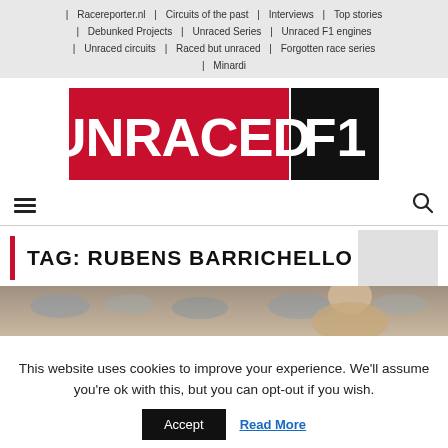| Racereporter.nl | Circuits of the past | Interviews | Top stories | Debunked Projects | Unraced Series | Unraced F1 engines | Unraced circuits | Raced but unraced | Forgotten race series | Minardi
[Figure (logo): Unraced F1 logo: white bold text UNRACED on red background, F1 on black background]
TAG: RUBENS BARRICHELLO
[Figure (photo): Partial photo of a person, likely Rubens Barrichello, with crowd in background]
This website uses cookies to improve your experience. We'll assume you're ok with this, but you can opt-out if you wish.
Accept  Read More